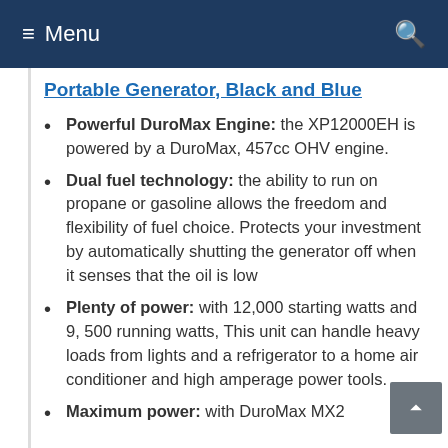≡ Menu
Portable Generator, Black and Blue
Powerful DuroMax Engine: the XP12000EH is powered by a DuroMax, 457cc OHV engine.
Dual fuel technology: the ability to run on propane or gasoline allows the freedom and flexibility of fuel choice. Protects your investment by automatically shutting the generator off when it senses that the oil is low
Plenty of power: with 12,000 starting watts and 9, 500 running watts, This unit can handle heavy loads from lights and a refrigerator to a home air conditioner and high amperage power tools.
Maximum power: with DuroMax MX2